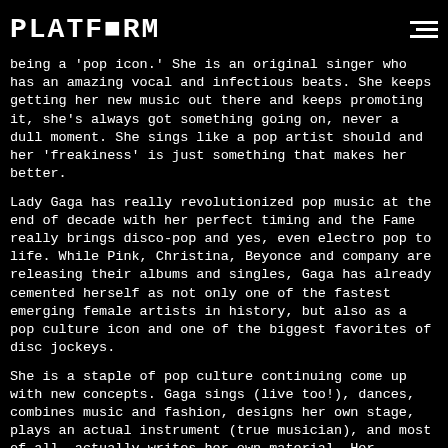PLATFORM
being a 'pop icon.' She is an original singer who has an amazing vocal and infectious beats. She keeps getting her new music out there and keeps promoting it, she's always got something going on, never a dull moment. She sings like a pop artist should and her 'freakiness' is just something that makes her better.
Lady Gaga has really revolutionized pop music at the end of decade with her perfect timing and the Fame really brings disco-pop and yes, even electro pop to life. While Pink, Christina, Beyonce and company are releasing their albums and singles, Gaga has already cemented herself as not only one of the fastest emerging female artists in history, but also as a pop culture icon and one of the biggest favorites of disc jockeys.
She is a staple of pop culture continuing come up with new concepts. Gaga sings (live too!), dances, combines music and fashion, designs her own stage, plays an actual instrument (true musician), and most of all, actually writes her own material. Her strengths have produced a million wannabe's that want to dance like Gaga or sing like Gaga. She's such incredible entertainer that disc jockeys can't wait to see what she gives next.
Gaga can tear the house down sitting on a stool with a mic in her hand or do a full out dance routine and knock others dead. What